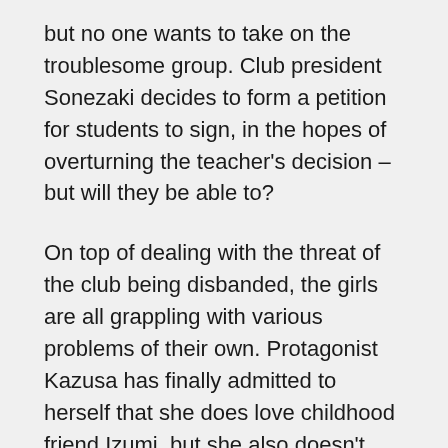but no one wants to take on the troublesome group. Club president Sonezaki decides to form a petition for students to sign, in the hopes of overturning the teacher's decision – but will they be able to?
On top of dealing with the threat of the club being disbanded, the girls are all grappling with various problems of their own. Protagonist Kazusa has finally admitted to herself that she does love childhood friend Izumi, but she also doesn't want their relationship to be tainted and changed by these feelings. Struggling to decide if she